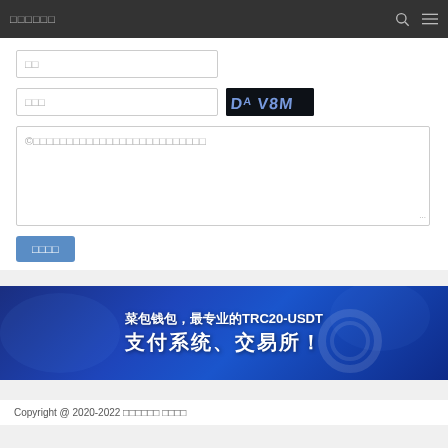□□□□□□
□□ (input field)
□□□ (input field with captcha DAV8M)
©□□□□□□□□□□□□□□□□□□□□□□□□□□ (textarea)
□□□□ (submit button)
[Figure (infographic): Blue banner ad for 菜包钱包 TRC20-USDT payment system and exchange: 菜包钱包，最专业的TRC20-USDT 支付系统、交易所！]
Copyright @ 2020-2022 □□□□□□ □□□□